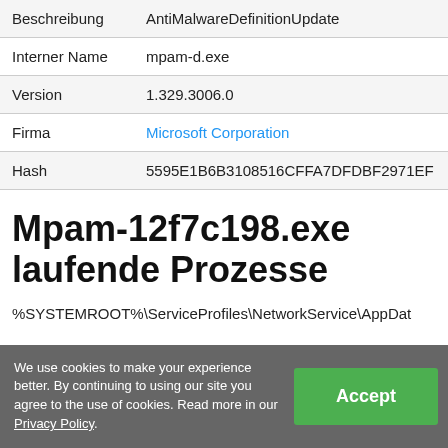| Beschreibung | AntiMalwareDefinitionUpdate |
| Interner Name | mpam-d.exe |
| Version | 1.329.3006.0 |
| Firma | Microsoft Corporation |
| Hash | 5595E1B6B3108516CFFA7DFDBF2971EF |
Mpam-12f7c198.exe laufende Prozesse
%SYSTEMROOT%\ServiceProfiles\NetworkService\AppDat
We use cookies to make your experience better. By continuing to using our site you agree to the use of cookies. Read more in our Privacy Policy.